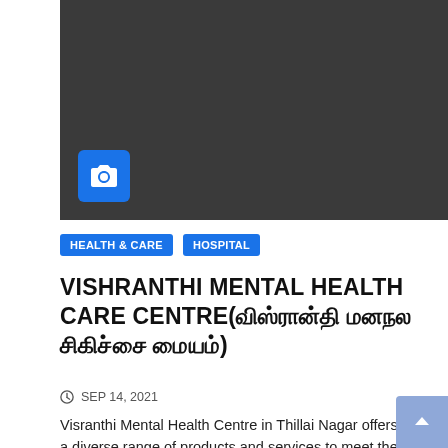[Figure (photo): Dark placeholder image with a blue camera icon in the lower-left corner]
HEALTH & CARE   HOSPITAL
VISHRANTHI MENTAL HEALTH CARE CENTRE(விஸ்ரான்தி மனநல சிகிச்சை மையம்)
SEP 14, 2021
Visranthi Mental Health Centre in Thillai Nagar offers a diverse range of products and services to meet the